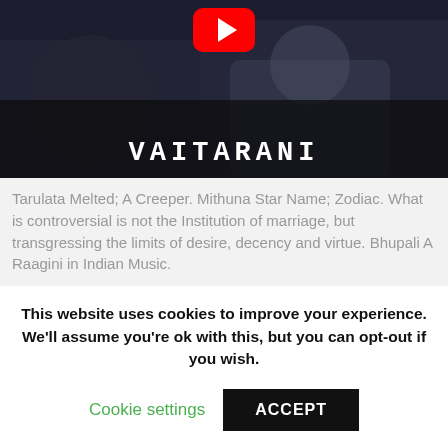[Figure (screenshot): YouTube video thumbnail showing the title VAITARANI in monospace bold white letters over a dark scene with two people, a red YouTube play button at the top center]
Tarulata Melted; A Creeper. Mithuna Star Name; Zodiac. What is controversial is not the Institution of marriage, but transgressing the limits of desire, decency and virtue. Bhupali A Raagini in Indian Music.
This website uses cookies to improve your experience. We'll assume you're ok with this, but you can opt-out if you wish.
Cookie settings   ACCEPT